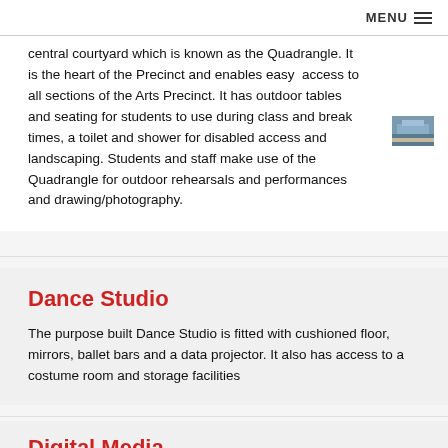MENU
central courtyard which is known as the Quadrangle. It is the heart of the Precinct and enables easy access to all sections of the Arts Precinct. It has outdoor tables and seating for students to use during class and break times, a toilet and shower for disabled access and landscaping. Students and staff make use of the Quadrangle for outdoor rehearsals and performances and drawing/photography.
[Figure (photo): Small thumbnail photograph of an outdoor courtyard/quadrangle area]
Dance Studio
The purpose built Dance Studio is fitted with cushioned floor, mirrors, ballet bars and a data projector. It also has access to a costume room and storage facilities
Digital Media